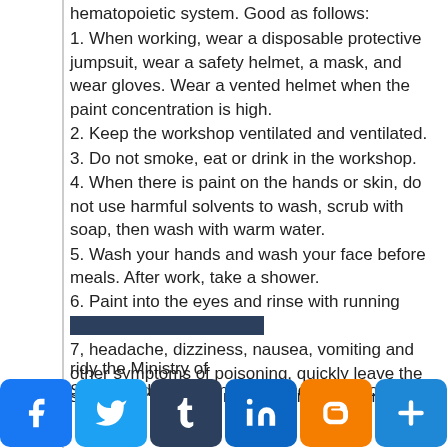hematopoietic system. Good as follows:
1. When working, wear a disposable protective jumpsuit, wear a safety helmet, a mask, and wear gloves. Wear a vented helmet when the paint concentration is high.
2. Keep the workshop ventilated and ventilated.
3. Do not smoke, eat or drink in the workshop.
4. When there is paint on the hands or skin, do not use harmful solvents to wash, scrub with soap, then wash with warm water.
5. Wash your hands and wash your face before meals. After work, take a shower.
6. Paint into the eyes and rinse with running water or saline.
7, headache, dizziness, nausea, vomiting and other symptoms of poisoning, quickly leave the scene to the fresh air. If the symptoms are referred by the Ministry of Safety and Environment and send the doctor